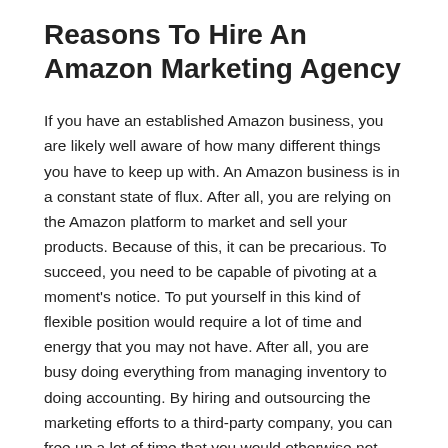Reasons To Hire An Amazon Marketing Agency
If you have an established Amazon business, you are likely well aware of how many different things you have to keep up with. An Amazon business is in a constant state of flux. After all, you are relying on the Amazon platform to market and sell your products. Because of this, it can be precarious. To succeed, you need to be capable of pivoting at a moment's notice. To put yourself in this kind of flexible position would require a lot of time and energy that you may not have. After all, you are busy doing everything from managing inventory to doing accounting. By hiring and outsourcing the marketing efforts to a third-party company, you can free up a lot of time that you would otherwise not have available. Below, we will be going over some of the reasons to hire a professional Amazon marketing agency.